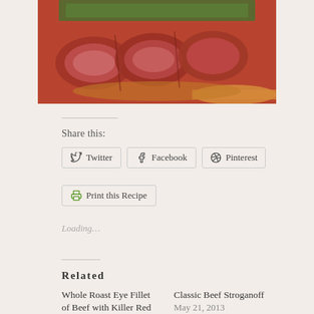[Figure (photo): Close-up photo of sliced rare roast beef with herb crust and carrots, in a golden sauce]
Share this:
Twitter
Facebook
Pinterest
Print this Recipe
Loading…
Related
Whole Roast Eye Fillet of Beef with Killer Red
Classic Beef Stroganoff
May 21, 2013